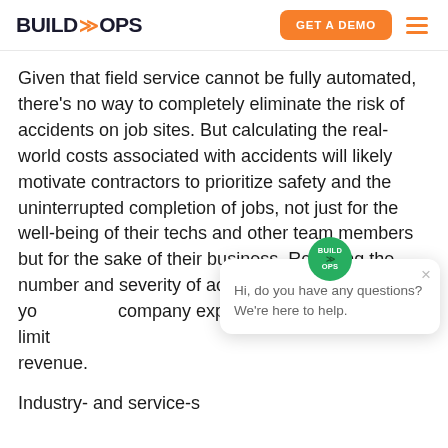BUILD OPS | GET A DEMO
Given that field service cannot be fully automated, there's no way to completely eliminate the risk of accidents on job sites. But calculating the real-world costs associated with accidents will likely motivate contractors to prioritize safety and the uninterrupted completion of jobs, not just for the well-being of their techs and other team members but for the sake of their business. Reducing the number and severity of accidents your company experiences helps limit [losses and protect] revenue.
Industry- and service-specific [resources for] determining the hard costs of accidents are widely available. Even a quick overview of the potential losses associated with accidents and how they add up illustrates how important safety is.